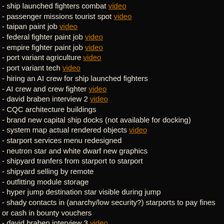- ship launched fighters combat video
- passenger missions tourist spot video
- taipan paint job video
- federal fighter paint job video
- empire fighter paint job video
- port variant agriculture video
- port variant tech video
- hiring an AI crew for ship launched fighters
- AI crew and crew fighter video
- david braben interview 2 video
- CQC architecture buildings
- brand new capital ship docks (not available for docking)
- system map actual rendered objects video
- starport services menu redesigned
- neutron star and white dwarf new graphics
- shipyard tranfers from starport to starport
- shipyard selling by remote
- outfitting module storage
- hyper jump destination star visible during jump
- shady contacts in (anarchy/low security?) starports to pay fines or cash in bounty vouchers
- david braben interview 3 video
- port services video
- capital ship dock video
- hyperspace video